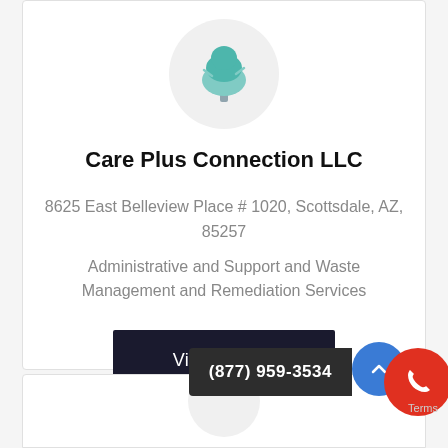[Figure (logo): Tree icon in teal/green color inside a light gray circle]
Care Plus Connection LLC
8625 East Belleview Place # 1020, Scottsdale, AZ, 85257
Administrative and Support and Waste Management and Remediation Services
View Details
(877) 959-3534